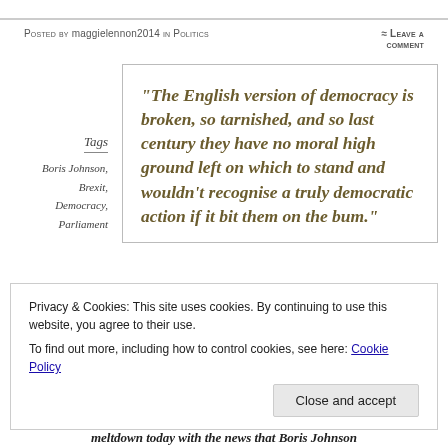Posted by maggielennon2014 in Politics
≈ Leave a comment
Tags
Boris Johnson,
Brexit,
Democracy,
Parliament
“The English version of democracy is broken, so tarnished, and so last century they have no moral high ground left on which to stand and wouldn’t recognise a truly democratic action if it bit them on the bum.”
Privacy & Cookies: This site uses cookies. By continuing to use this website, you agree to their use.
To find out more, including how to control cookies, see here: Cookie Policy
Close and accept
meltdown today with the news that Boris Johnson